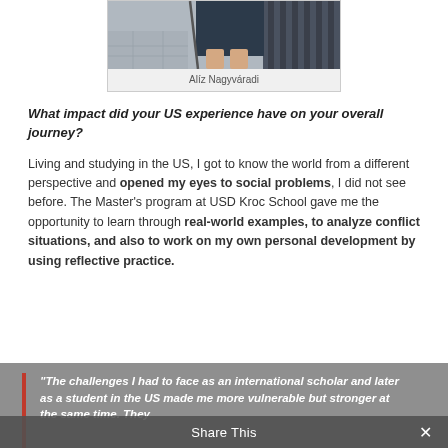[Figure (photo): Cropped photo of a person (lower body visible, wearing a dark skirt/dress) standing outdoors near a fence or railing on a paved surface]
Alíz Nagyváradi
What impact did your US experience have on your overall journey?
Living and studying in the US, I got to know the world from a different perspective and opened my eyes to social problems, I did not see before. The Master's program at USD Kroc School gave me the opportunity to learn through real-world examples, to analyze conflict situations, and also to work on my own personal development by using reflective practice.
“The challenges I had to face as an international scholar and later as a student in the US made me more vulnerable but stronger at the same time. They